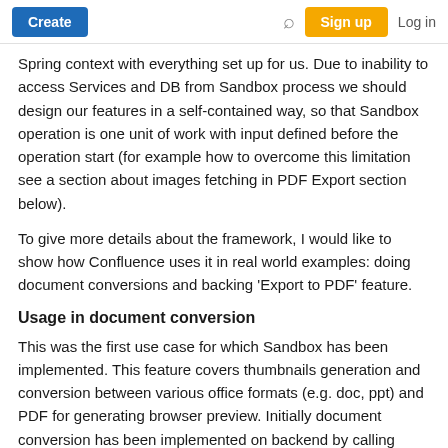Create | Search | Sign up | Log in
Spring context with everything set up for us. Due to inability to access Services and DB from Sandbox process we should design our features in a self-contained way, so that Sandbox operation is one unit of work with input defined before the operation start (for example how to overcome this limitation see a section about images fetching in PDF Export section below).
To give more details about the framework, I would like to show how Confluence uses it in real world examples: doing document conversions and backing 'Export to PDF' feature.
Usage in document conversion
This was the first use case for which Sandbox has been implemented. This feature covers thumbnails generation and conversion between various office formats (e.g. doc, ppt) and PDF for generating browser preview. Initially document conversion has been implemented on backend by calling corresponding Aspose library for particular documents. Converted resulting documents were cached in the filesystem, so that trying to convert the same document twice will use cached result and not cause the system to perform duplicated work.